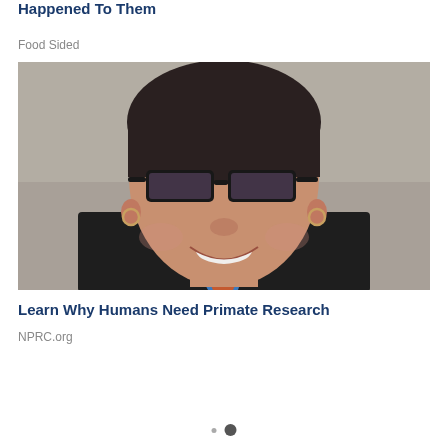Happened To Them
Food Sided
[Figure (photo): Headshot of a smiling woman with short dark hair wearing dark rectangular sunglasses, small hoop earrings, a dark blazer, and a colorful patterned scarf. Background is blurred gray/blue.]
Learn Why Humans Need Primate Research
NPRC.org